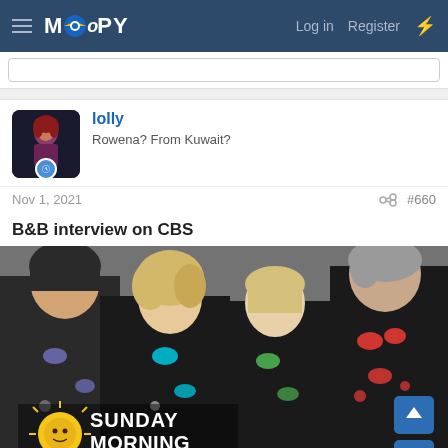MOOPY — Log in  Register
lolly
Rowena? From Kuwait?
Nov 1, 2021  #660
B&B interview on CBS
[Figure (photo): Four people wearing black motion-capture suits with colored sensor dots, standing in front of a grey background. Bottom-left shows a CBS Sunday Morning logo with sun face graphic and white text reading SUNDAY MORNING.]